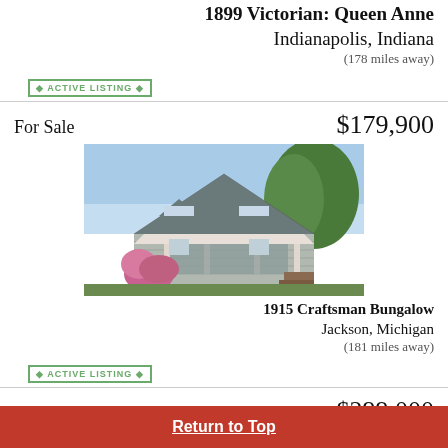1899 Victorian Queen Anne
Indianapolis, Indiana
(178 miles away)
ACTIVE LISTING
For Sale   $179,900
[Figure (photo): Exterior photograph of a 1915 Craftsman Bungalow with wrap-around porch, dormer windows, shingled siding, and flowering shrubs in Jackson, Michigan]
1915 Craftsman Bungalow
Jackson, Michigan
(181 miles away)
ACTIVE LISTING
For Sale   $299,000
[Figure (photo): Partial exterior photo of next listing (cropped at bottom)]
Return to Top